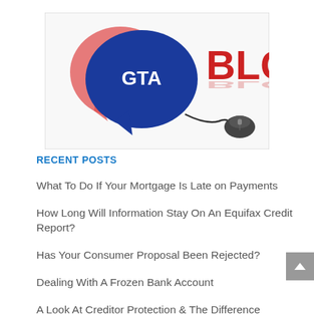[Figure (logo): GTA Blog logo with speech bubbles (red and blue) and a computer mouse, with 'GTA' text in white on the blue bubble and 'BLOG' in large red 3D letters]
RECENT POSTS
What To Do If Your Mortgage Is Late on Payments
How Long Will Information Stay On An Equifax Credit Report?
Has Your Consumer Proposal Been Rejected?
Dealing With A Frozen Bank Account
A Look At Creditor Protection & The Difference